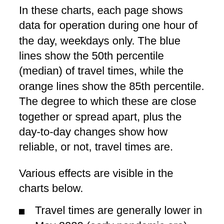In these charts, each page shows data for operation during one hour of the day, weekdays only. The blue lines show the 50th percentile (median) of travel times, while the orange lines show the 85th percentile. The degree to which these are close together or spread apart, plus the day-to-day changes show how reliable, or not, travel times are.
Various effects are visible in the charts below.
Travel times are generally lower in May 2020 (early pandemic era) than in 2018, two years earlier. In particular, a wide gap between the 50th and 85th percentiles in 2018 does not appear in 2020 and later data.
A drop in travel times can be seen for some periods and directions corresponding with the introduction of